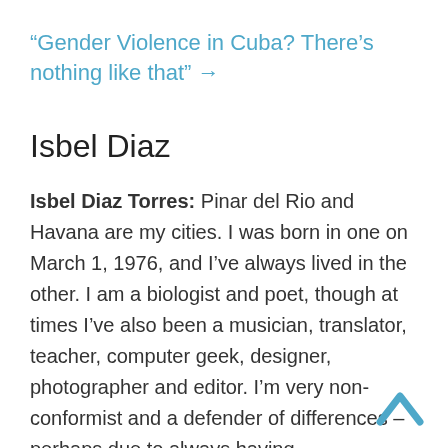“Gender Violence in Cuba? There’s nothing like that” →
Isbel Diaz
Isbel Diaz Torres: Pinar del Rio and Havana are my cities. I was born in one on March 1, 1976, and I’ve always lived in the other. I am a biologist and poet, though at times I’ve also been a musician, translator, teacher, computer geek, designer, photographer and editor. I’m very non-conformist and a defender of differences – perhaps due to always having